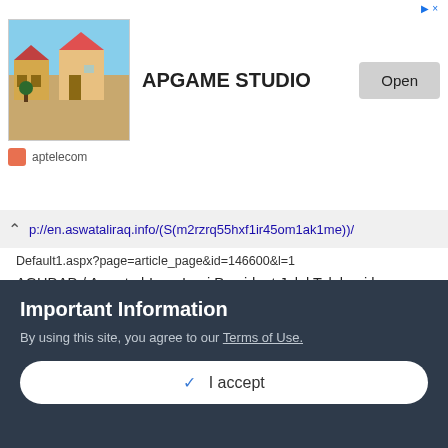[Figure (screenshot): Ad banner showing APGAME STUDIO with building illustration, open button, and aptelecom label]
p://en.aswataliraq.info/(S(m2rzrq55hxf1ir45om1ak1me))/Default1.aspx?page=article_page&id=146600&l=1
AGHDAD / Aswat al-Iraq: Iraqi President Jalal Talabani has decided to return to Baghdad within one week, after a successful surgery in Germany, a leading official of his Patriotic Union of Kurdistan (PUK) announced on Monday. "President Jalal Talabani shall return to Iraq within one week after his successful spinal surgery in Germany; he is feeling well now," Adel Murad told Aswat al-Iraq news agency. "After President Talabani's return, he shall continue his
Important Information
By using this site, you agree to our Terms of Use.
✓  I accept